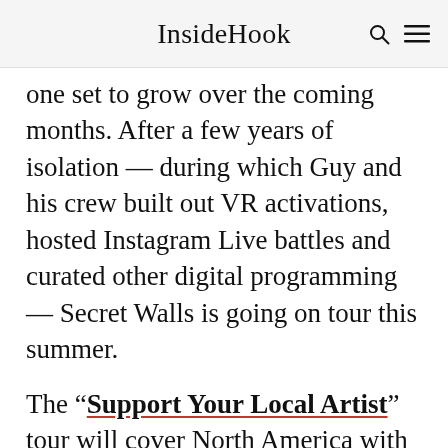InsideHook
one set to grow over the coming months. After a few years of isolation — during which Guy and his crew built out VR activations, hosted Instagram Live battles and curated other digital programming — Secret Walls is going on tour this summer.
The “Support Your Local Artist” tour will cover North America with battles in over 35 cities across the U.S. and Canada, kicking off August 13 in Tempe, Arizona, before hitting two California dates and then onto the rest of